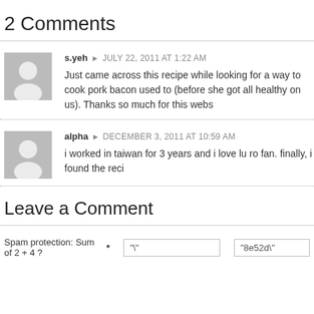2 Comments
s.yeh ▶ JULY 22, 2011 AT 1:22 AM
Just came across this recipe while looking for a way to cook pork bacon used to (before she got all healthy on us). Thanks so much for this webs
alpha ▶ DECEMBER 3, 2011 AT 10:59 AM
i worked in taiwan for 3 years and i love lu ro fan. finally, i found the reci
Leave a Comment
Spam protection: Sum of 2 + 4 ? *  "\"  "8e52d\"